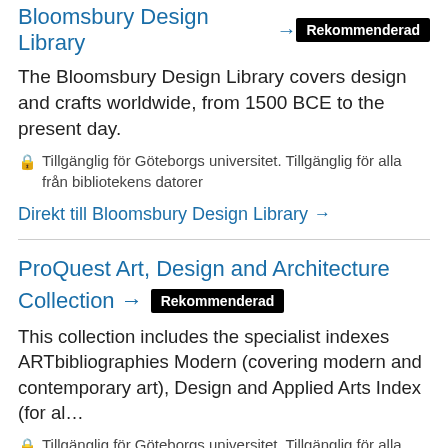Bloomsbury Design Library → Rekommenderad
The Bloomsbury Design Library covers design and crafts worldwide, from 1500 BCE to the present day.
🔒 Tillgänglig för Göteborgs universitet. Tillgänglig för alla från bibliotekens datorer
Direkt till Bloomsbury Design Library →
ProQuest Art, Design and Architecture Collection → Rekommenderad
This collection includes the specialist indexes ARTbibliographies Modern (covering modern and contemporary art), Design and Applied Arts Index (for al…
🔒 Tillgänglig för Göteborgs universitet. Tillgänglig för alla från bibliotekens datorer